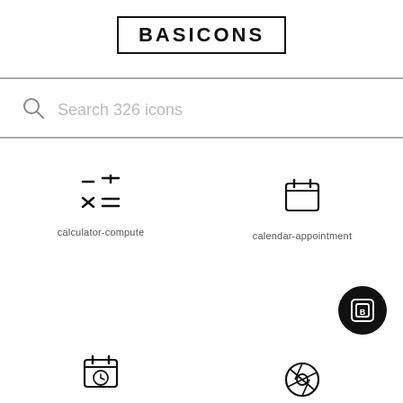BASICONS
Search 326 icons
[Figure (illustration): calculator-compute icon: arithmetic symbols (minus, plus, multiply, equals) arranged in a grid]
calculator-compute
[Figure (illustration): calendar-appointment icon: calendar with a small tab at top]
calendar-appointment
[Figure (logo): Basicons circular black button with a B icon inside a square]
[Figure (illustration): calendar with clock/time icon, partially visible at bottom]
[Figure (illustration): camera aperture/shutter icon, partially visible at bottom right]